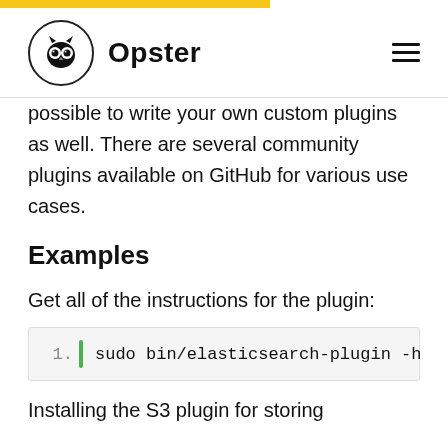Opster
possible to write your own custom plugins as well. There are several community plugins available on GitHub for various use cases.
Examples
Get all of the instructions for the plugin:
1.  sudo bin/elasticsearch-plugin -h
Installing the S3 plugin for storing